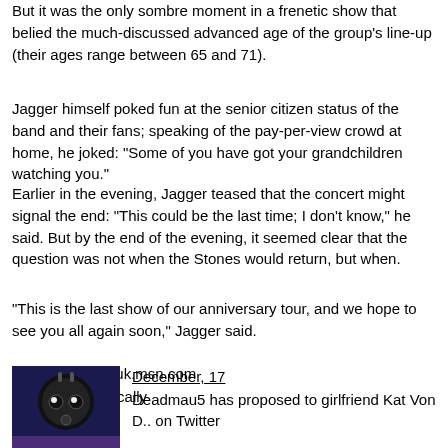But it was the only sombre moment in a frenetic show that belied the much-discussed advanced age of the group's line-up (their ages range between 65 and 71).
Jagger himself poked fun at the senior citizen status of the band and their fans; speaking of the pay-per-view crowd at home, he joked: "Some of you have got your grandchildren watching you."
Earlier in the evening, Jagger teased that the concert might signal the end: "This could be the last time; I don't know," he said. But by the end of the evening, it seemed clear that the question was not when the Stones would return, but when.
"This is the last show of our anniversary tour, and we hope to see you all again soon," Jagger said.
Source: music.uk.msn.com
Added automatically
1014 views
[Figure (photo): Thumbnail image of Deadmau5 artist profile with dark blue/purple background]
December, 17
Deadmau5 has proposed to girlfriend Kat Von D.. on Twitter